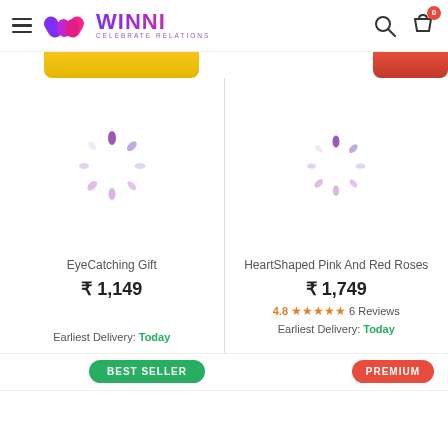[Figure (logo): Winni logo with heart motif and tagline CELEBRATE RELATIONS]
[Figure (screenshot): Loading spinner (purple dashes) for EyeCatching Gift product]
EyeCatching Gift
₹ 1,149
Earliest Delivery: Today
[Figure (screenshot): Loading spinner (purple dashes) for HeartShaped Pink And Red Roses product]
HeartShaped Pink And Red Roses
₹ 1,749
4.8★★★★★ 6 Reviews
Earliest Delivery: Today
BEST SELLER
PREMIUM